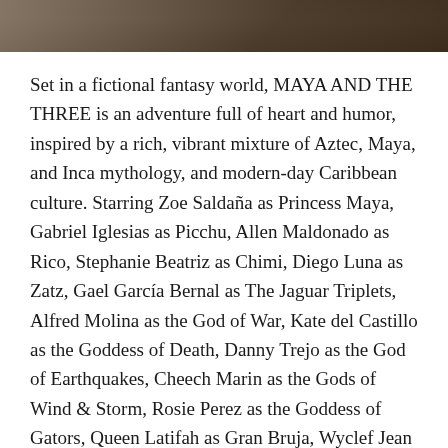[Figure (photo): Partial photo strip at top of page showing dark background scene]
Set in a fictional fantasy world, MAYA AND THE THREE is an adventure full of heart and humor, inspired by a rich, vibrant mixture of Aztec, Maya, and Inca mythology, and modern-day Caribbean culture. Starring Zoe Saldaña as Princess Maya, Gabriel Iglesias as Picchu, Allen Maldonado as Rico, Stephanie Beatriz as Chimi, Diego Luna as Zatz, Gael García Bernal as The Jaguar Triplets, Alfred Molina as the God of War, Kate del Castillo as the Goddess of Death, Danny Trejo as the God of Earthquakes, Cheech Marin as the Gods of Wind & Storm, Rosie Perez as the Goddess of Gators, Queen Latifah as Gran Bruja, Wyclef Jean as Gran Brujo, Jorge R. Gutiérrez as King Teca, Sandra Equihua as Queen Teca, Isabela Merced as the Widow Queen, Chelsea Rendon as the Goddess of Tattoos, Joaquín Cosío as the God of Bats, Carlos Alazraqui as the God of Dark Magic, Eric Bauza as the